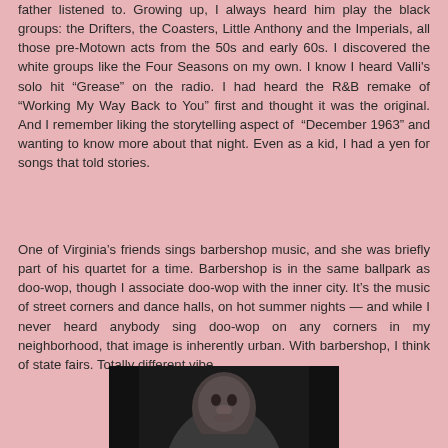father listened to. Growing up, I always heard him play the black groups: the Drifters, the Coasters, Little Anthony and the Imperials, all those pre-Motown acts from the 50s and early 60s. I discovered the white groups like the Four Seasons on my own. I know I heard Valli's solo hit “Grease” on the radio. I had heard the R&B remake of “Working My Way Back to You” first and thought it was the original. And I remember liking the storytelling aspect of “December 1963” and wanting to know more about that night. Even as a kid, I had a yen for songs that told stories.
One of Virginia’s friends sings barbershop music, and she was briefly part of his quartet for a time. Barbershop is in the same ballpark as doo-wop, though I associate doo-wop with the inner city. It’s the music of street corners and dance halls, on hot summer nights — and while I never heard anybody sing doo-wop on any corners in my neighborhood, that image is inherently urban. With barbershop, I think of state fairs. Totally different vibe.
[Figure (photo): A black and white portrait photo of a man, cropped at the bottom of the page, showing head and upper shoulders against a dark background.]